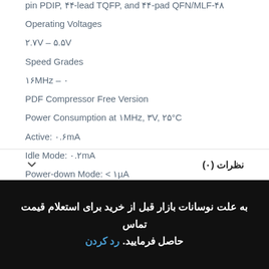pin PDIP, ۴۴-lead TQFP, and ۴۴-pad QFN/MLF-۴۸
Operating Voltages
۲.۷V – ۵.۵V
Speed Grades
۱۶MHz – ۰
PDF Compressor Free Version
Power Consumption at ۱MHz, ۳V, ۲۵°C
Active: ۰.۶mA
Idle Mode: ۰.۲mA
Power-down Mode: < ۱µA
نظرات (۰)
به علت نوسانات بازار قبل از خرید برای استعلام قیمت تماس حاصل فرمایید. رد کردن